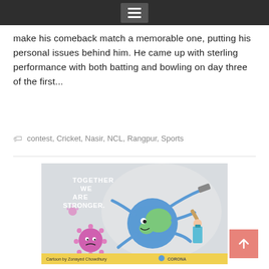Navigation menu icon
make his comeback match a memorable one, putting his personal issues behind him. He came up with sterling performance with both batting and bowling on day three of the first...
contest, Cricket, Nasir, NCL, Rangpur, Sports
[Figure (illustration): Cartoon illustration titled 'Together We Are Stronger' showing a globe character fighting a coronavirus/COVID-19 virus. The globe holds various items and is assisted by figures including a healthcare worker in blue PPE. A pink spiky virus is shown being repelled. Caption reads: 'Cartoon by Zonayed Chowdhury' with 'CORONA' text and logo.]